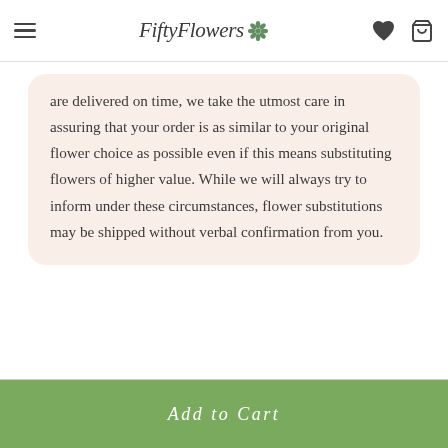FiftyFlowers
are delivered on time, we take the utmost care in assuring that your order is as similar to your original flower choice as possible even if this means substituting flowers of higher value. While we will always try to inform under these circumstances, flower substitutions may be shipped without verbal confirmation from you.
Add to Cart